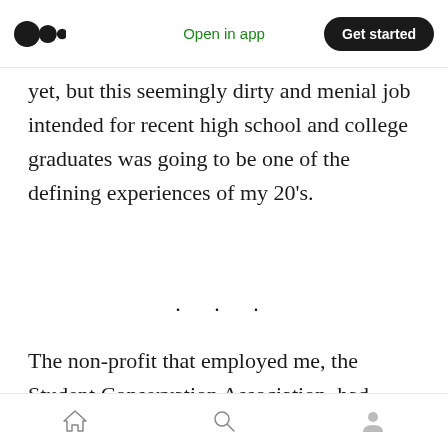Open in app  Get started
yet, but this seemingly dirty and menial job intended for recent high school and college graduates was going to be one of the defining experiences of my 20's.
· · ·
The non-profit that employed me, the Student Conservation Association, had teamed up with local city officials, the Department of Lands and Resources, and a local arborist named Andrew Hart to start a program called CommuniTree. My
home  search  profile